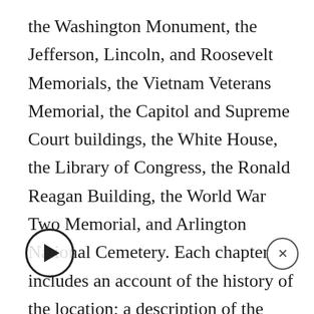the Washington Monument, the Jefferson, Lincoln, and Roosevelt Memorials, the Vietnam Veterans Memorial, the Capitol and Supreme Court buildings, the White House, the Library of Congress, the Ronald Reagan Building, the World War Two Memorial, and Arlington National Cemetery. Each chapter includes an account of the history of the location; a description of the religious words, symbols, and imagery found there; and a discussion of the role that religion played in the life of the great men and women who are memorialized there. The format of the book is descriptive, accessible, and compelling.